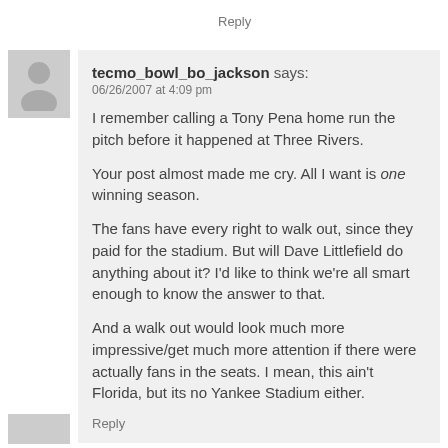Reply
tecmo_bowl_bo_jackson says:
06/26/2007 at 4:09 pm
I remember calling a Tony Pena home run the pitch before it happened at Three Rivers.

Your post almost made me cry. All I want is one winning season.

The fans have every right to walk out, since they paid for the stadium. But will Dave Littlefield do anything about it? I'd like to think we're all smart enough to know the answer to that.

And a walk out would look much more impressive/get much more attention if there were actually fans in the seats. I mean, this ain't Florida, but its no Yankee Stadium either.
Reply